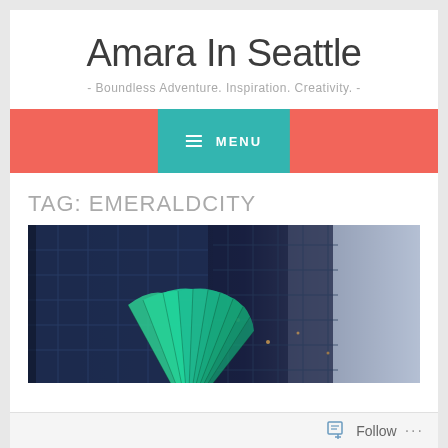Amara In Seattle
- Boundless Adventure. Inspiration. Creativity. -
MENU
TAG: EMERALDCITY
[Figure (photo): Photo of a large teal/green sculptural fan or shell shape outside a building with a grid-patterned facade, taken with a blue tint filter at dusk or night.]
Follow ...